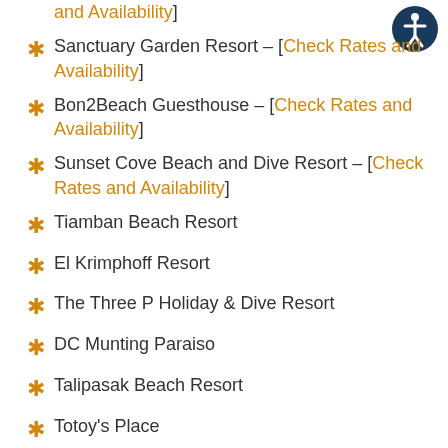and Availability]
Sanctuary Garden Resort – [Check Rates and Availability]
Bon2Beach Guesthouse – [Check Rates and Availability]
Sunset Cove Beach and Dive Resort – [Check Rates and Availability]
Tiamban Beach Resort
El Krimphoff Resort
The Three P Holiday & Dive Resort
DC Munting Paraiso
Talipasak Beach Resort
Totoy's Place